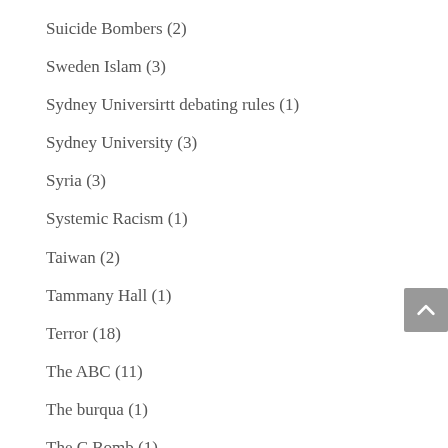Suicide Bombers (2)
Sweden Islam (3)
Sydney Universirtt debating rules (1)
Sydney University (3)
Syria (3)
Systemic Racism (1)
Taiwan (2)
Tammany Hall (1)
Terror (18)
The ABC (11)
The burqua (1)
The C Bomb (1)